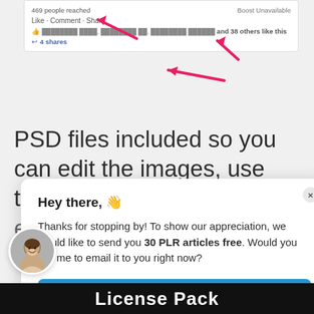[Figure (screenshot): Facebook post snippet showing '469 people reached', 'Boost Unavailable', 'Like · Comment · Share', likes line with names and '38 others like this', and '4 shares', with red arrows pointing to key elements.]
PSD files included so you can edit the images, use them as templates and even add your URL on the
Hey there, 👋

Thanks for stopping by! To show our appreciation, we would like to send you 30 PLR articles free. Would you like me to email it to you right now?
Yes, please send me a copy →
[Figure (photo): Circular avatar of a smiling Asian man]
License Pack